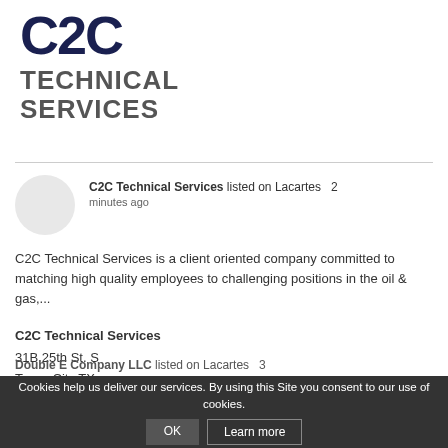[Figure (logo): C2C Technical Services logo with dark blue stylized letters and gray bold text]
C2C Technical Services listed on Lacartes 2 minutes ago
C2C Technical Services is a client oriented company committed to matching high quality employees to challenging positions in the oil & gas,...
C2C Technical Services
31B 25th St. S
Texas City TX
77590
832-905-1002
Cookies help us deliver our services. By using this Site you consent to our use of cookies.
Double E Company LLC listed on Lacartes  3